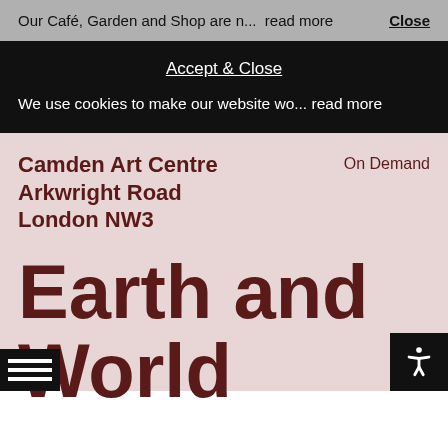Our Café, Garden and Shop are n... read more   Close
Accept & Close
We use cookies to make our website wo... read more
Camden Art Centre
Arkwright Road
London NW3
On Demand
Earth and World